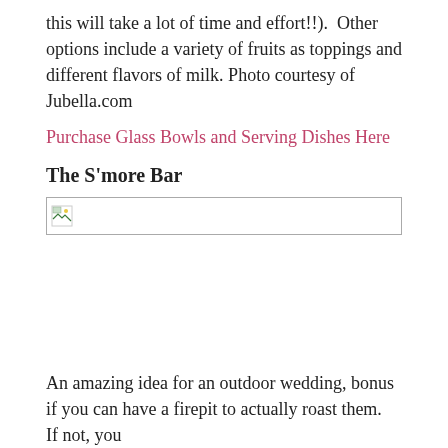this will take a lot of time and effort!!).  Other options include a variety of fruits as toppings and different flavors of milk. Photo courtesy of Jubella.com
Purchase Glass Bowls and Serving Dishes Here
The S'more Bar
[Figure (photo): Broken/unloaded image placeholder for S'more Bar photo]
An amazing idea for an outdoor wedding, bonus if you can have a firepit to actually roast them.  If not, you